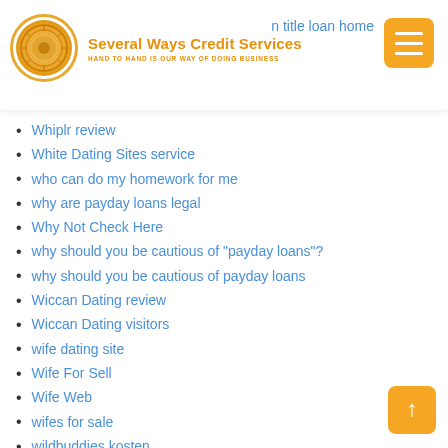Several Ways Credit Services — HAND TO HAND IS OUR WAY OF DOING BUSINESS — n title loan home
Whiplr review
White Dating Sites service
who can do my homework for me
why are payday loans legal
Why Not Check Here
why should you be cautious of "payday loans"?
why should you be cautious of payday loans
Wiccan Dating review
Wiccan Dating visitors
wife dating site
Wife For Sell
Wife Web
wifes for sale
wildbuddies kosten
wildbuddies mobile site
WildBuddies review
wildbuddies sign in
willow dating
willow hookup sites